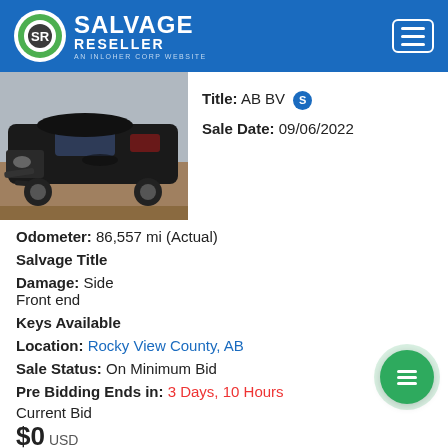Salvage Reseller — An Inloher Corp Website
[Figure (photo): Damaged black car (salvage vehicle) with front end and side damage, photographed in a dirt lot.]
Title: AB BV S
Sale Date: 09/06/2022
Odometer: 86,557 mi (Actual)
Salvage Title
Damage: Side
Front end
Keys Available
Location: Rocky View County, AB
Sale Status: On Minimum Bid
Pre Bidding Ends in: 3 Days, 10 Hours
Current Bid
$0 USD